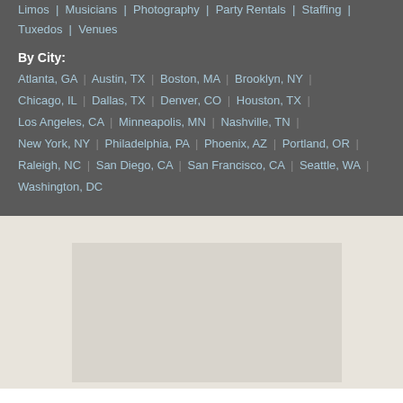Limos | Musicians | Photography | Party Rentals | Staffing | Tuxedos | Venues
By City:
Atlanta, GA | Austin, TX | Boston, MA | Brooklyn, NY | Chicago, IL | Dallas, TX | Denver, CO | Houston, TX | Los Angeles, CA | Minneapolis, MN | Nashville, TN | New York, NY | Philadelphia, PA | Phoenix, AZ | Portland, OR | Raleigh, NC | San Diego, CA | San Francisco, CA | Seattle, WA | Washington, DC
[Figure (other): Light-colored placeholder image or advertisement block set against a beige/cream background section]